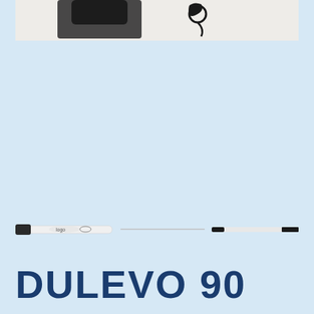[Figure (photo): Partial view of a dark-colored bag or jacket with a cord/knot detail, shown against a light gray/beige background at the top of the page]
[Figure (photo): A fishing rod or ski pole shown horizontally in three sections: the handle/grip end on the left (white with black reel seat and logo), the middle thin shaft section, and the tip section on the right (black and white segments)]
DULEVO 90